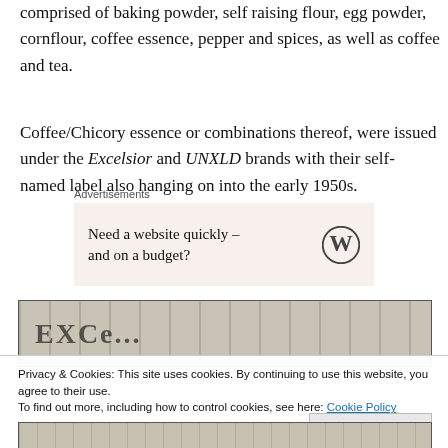comprised of baking powder, self raising flour, egg powder, cornflour, coffee essence, pepper and spices, as well as coffee and tea.
Coffee/Chicory essence or combinations thereof, were issued under the Excelsior and UNXLD brands with their self-named label also hanging on into the early 1950s.
Advertisements
[Figure (other): WordPress advertisement banner: 'Need a website quickly – and on a budget?' with WordPress logo]
[Figure (photo): Scanned vintage label image showing partial text starting with 'EXCE...']
Privacy & Cookies: This site uses cookies. By continuing to use this website, you agree to their use.
To find out more, including how to control cookies, see here: Cookie Policy
[Figure (photo): Scanned vintage label bottom strip]